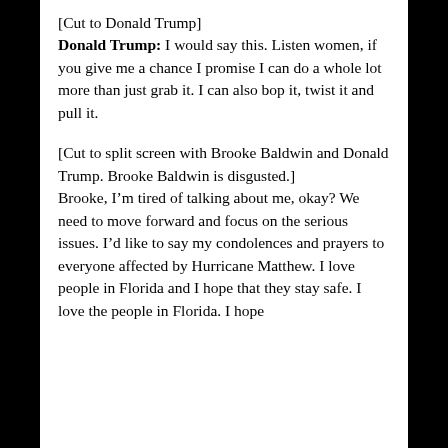[Cut to Donald Trump]
Donald Trump: I would say this. Listen women, if you give me a chance I promise I can do a whole lot more than just grab it. I can also bop it, twist it and pull it.
[Cut to split screen with Brooke Baldwin and Donald Trump. Brooke Baldwin is disgusted.]
Brooke, I’m tired of talking about me, okay? We need to move forward and focus on the serious issues. I’d like to say my condolences and prayers to everyone affected by Hurricane Matthew. I love people in Florida and I hope that they stay safe. I love the people in Florida. I hope